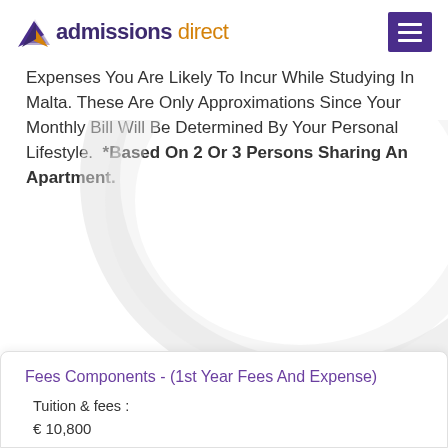admissions direct
Expenses You Are Likely To Incur While Studying In Malta. These Are Only Approximations Since Your Monthly Bill Will Be Determined By Your Personal Lifestyle.  *Based On 2 Or 3 Persons Sharing An Apartment.
Fees Components - (1st Year Fees And Expense)
Tuition & fees :
€ 10,800